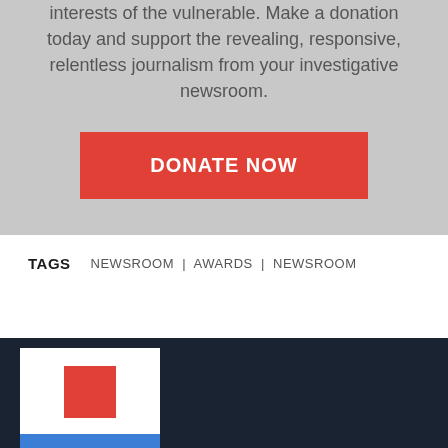interests of the vulnerable. Make a donation today and support the revealing, responsive, relentless journalism from your investigative newsroom.
[Figure (other): Red DONATE NOW button on gray background]
TAGS   NEWSROOM | AWARDS | NEWSROOM
[Figure (logo): Logo with red square and blue bar on white background, displayed on dark navy footer]